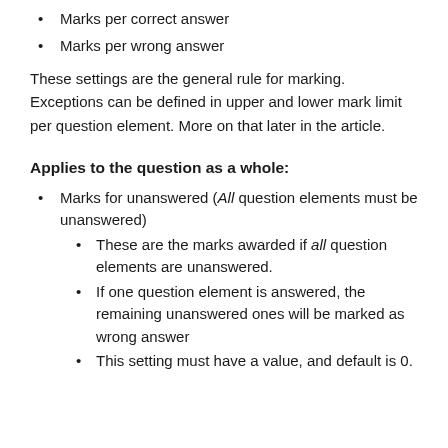Marks per correct answer
Marks per wrong answer
These settings are the general rule for marking. Exceptions can be defined in upper and lower mark limit per question element. More on that later in the article.
Applies to the question as a whole:
Marks for unanswered (All question elements must be unanswered)
These are the marks awarded if all question elements are unanswered.
If one question element is answered, the remaining unanswered ones will be marked as wrong answer
This setting must have a value, and default is 0.